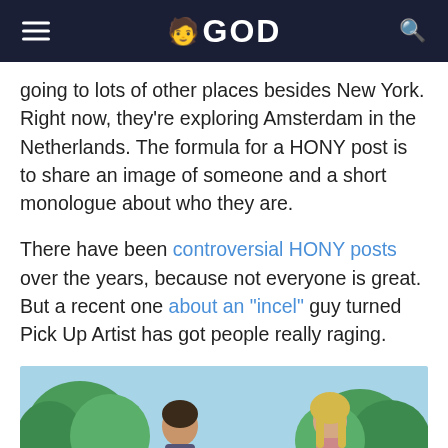GOD
going to lots of other places besides New York. Right now, they're exploring Amsterdam in the Netherlands. The formula for a HONY post is to share an image of someone and a short monologue about who they are.
There have been controversial HONY posts over the years, because not everyone is great. But a recent one about an “incel” guy turned Pick Up Artist has got people really raging.
[Figure (photo): Outdoor photo showing people in a park-like setting with trees and blue sky in the background]